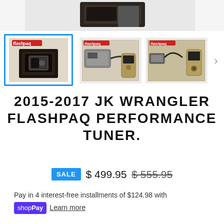[Figure (photo): Top portion of a Flashpaq tuner product image, cropped at top]
[Figure (photo): Thumbnail 1 (selected, blue border): Flashpaq tuner product box]
[Figure (photo): Thumbnail 2: Flashpaq tuner device with cables and handheld controller, side view]
[Figure (photo): Thumbnail 3: Flashpaq tuner device with OBD connector and handheld controller]
2015-2017 JK WRANGLER FLASHPAQ PERFORMANCE TUNER.
SALE $ 499.95 $ 555.95
Pay in 4 interest-free installments of $124.98 with shop Pay Learn more